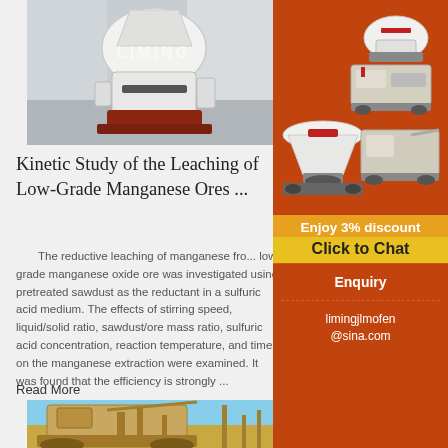[Figure (photo): Industrial crusher/grinding machine (white and dark red) in a factory setting, with LIMING watermark]
Kinetic Study of the Leaching of Low-Grade Manganese Ores ...
The reductive leaching of manganese from low-grade manganese oxide ore was investigated using pretreated sawdust as the reductant in a sulfuric acid medium. The effects of stirring speed, liquid/solid ratio, sawdust/ore mass ratio, sulfuric acid concentration, reaction temperature, and time on the manganese extraction were examined. It was found that the efficiency is strongly ...
Read More
[Figure (photo): Large industrial mining or crushing machinery in a desert/arid environment]
[Figure (photo): Sidebar advertisement showing multiple crusher/grinding machines from Liming Heavy Industry]
Enjoy 3% discount
Click to Chat
Enquiry
limingjlmofen@sina.com